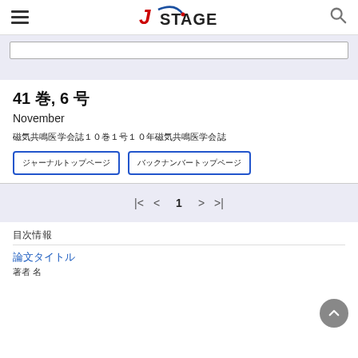J-STAGE
41 巻, 6 号
November
磁気共鳴医学会誌１０巻１号１０年磁気共鳴医学会誌
ジャーナルトップページ　　バックナンバートップページ
1
目次情報
論文タイトル
著者 名